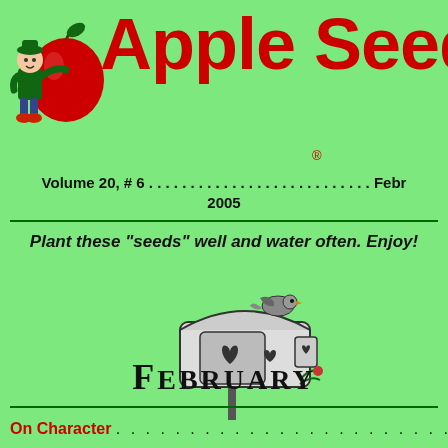[Figure (illustration): Cartoon character (child dressed in green holding a large red apple) next to the Apple Seed title logo in red bold text]
Apple Seeds
Volume 20, # 6 . . . . . . . . . . . . . . . . . . . . . . . . . . . Febru
2005
Plant these "seeds" well and water often. Enjoy!
[Figure (illustration): Black and white illustration of a mailbox with heart cutouts and a bird perched on top, with FEBRUARY written below in bold serif font]
FEBRUARY
On Character . . . . . . . . . . . . . . . . . . . . . . . . . . .